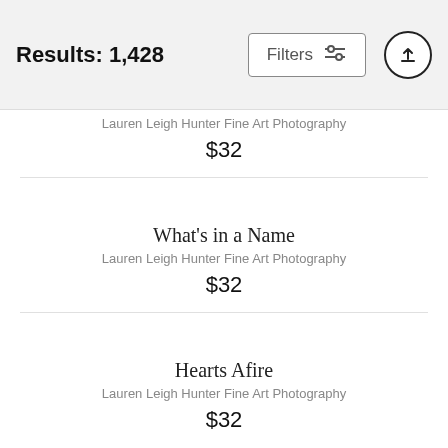Results: 1,428
Lauren Leigh Hunter Fine Art Photography
$32
What's in a Name
Lauren Leigh Hunter Fine Art Photography
$32
Hearts Afire
Lauren Leigh Hunter Fine Art Photography
$32